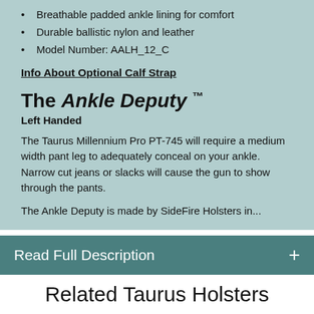Breathable padded ankle lining for comfort
Durable ballistic nylon and leather
Model Number: AALH_12_C
Info About Optional Calf Strap
The Ankle Deputy ™
Left Handed
The Taurus Millennium Pro PT-745 will require a medium width pant leg to adequately conceal on your ankle. Narrow cut jeans or slacks will cause the gun to show through the pants.
The Ankle Deputy is made by SideFire Holsters in...
Read Full Description
Related Taurus Holsters